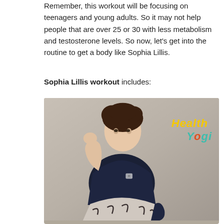Remember, this workout will be focusing on teenagers and young adults. So it may not help people that are over 25 or 30 with less metabolism and testosterone levels. So now, let's get into the routine to get a body like Sophia Lillis.
Sophia Lillis workout includes:
[Figure (photo): Photo of Sophia Lillis sitting and posing in a dark navy t-shirt and patterned skirt against a grey background, with 'Health Yogi' logo overlay in the top right corner.]